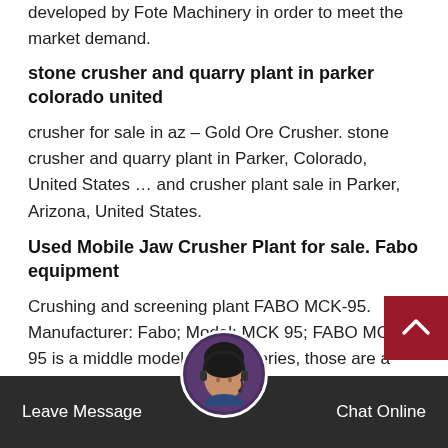developed by Fote Machinery in order to meet the market demand.
stone crusher and quarry plant in parker colorado united
crusher for sale in az – Gold Ore Crusher. stone crusher and quarry plant in Parker, Colorado, United States … and crusher plant sale in Parker, Arizona, United States.
Used Mobile Jaw Crusher Plant for sale. Fabo equipment
Crushing and screening plant FABO MCK-95. Manufacturer: Fabo; Model: MCK 95; FABO MCK-95 is a middle model of MCK series, those are a mobile type & closed circuit crushing and screening pl… that is used for process… hard materials su… a… basalt… gab… omite do…
Leave Message   Chat Online
Homemade rock crusher plans in united states